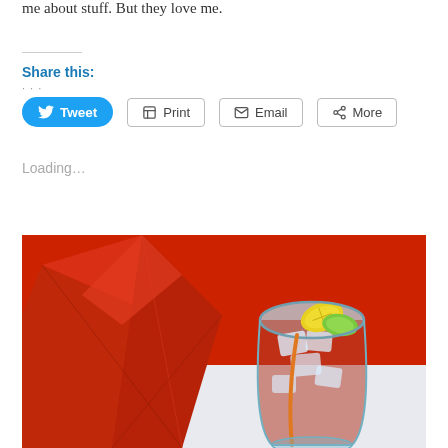me about stuff. But they love me.
Share this:
Tweet  Print  Email  More
Loading...
[Figure (photo): A red folded napkin on the left and a glass of iced drink with lemon and lime garnish on the right, against a red background on a white tablecloth.]